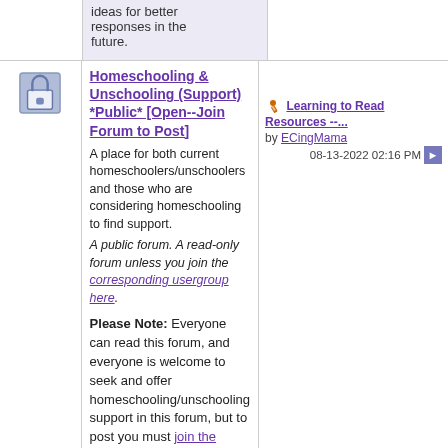ideas for better responses in the future.
Homeschooling & Unschooling (Support) *Public* [Open--Join Forum to Post]
A place for both current homeschoolers/unschoolers and those who are considering homeschooling to find support. A public forum. A read-only forum unless you join the corresponding usergroup here.

Please Note: Everyone can read this forum, and everyone is welcome to seek and offer homeschooling/unschooling support in this forum, but to post you must join the corresponding usergroup.

Sub-Forums: Homeschooling & Unschooling Info and FAQ's *Public*
Learning to Read Resources --...
by ECingMama
08-13-2022 02:16 PM
Blessing our Family
Joyous Homekeeping